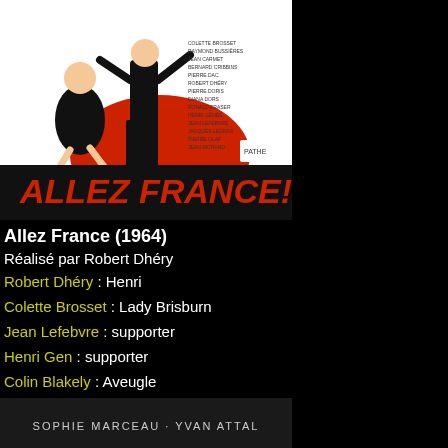[Figure (photo): Movie poster for Allez France (1964) showing illustrated characters with bold red text title at bottom]
Allez France (1964)
Réalisé par Robert Dhéry
Robert Dhéry : Henri
Colette Brosset : Lady Brisburn
Jean Lefebvre : supporter
Henri Gen : supporter
Colin Blakely : Aveugle
[Figure (photo): Partial movie poster at bottom showing Sophie Marceau · Yvan Attal]